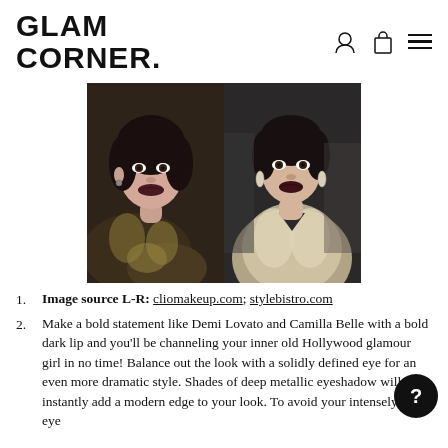GLAM CORNER.
[Figure (photo): Two side-by-side celebrity photos: left shows Demi Lovato with dark curled hair and dark lip, wearing a patterned dress; right shows Camilla Belle with dark upswept hair and dark lip, wearing a silver gown.]
Image source L-R: cliomakeup.com; stylebistro.com
Make a bold statement like Demi Lovato and Camilla Belle with a bold dark lip and you'll be channeling your inner old Hollywood glamour girl in no time! Balance out the look with a solidly defined eye for an even more dramatic style. Shades of deep metallic eyeshadow will instantly add a modern edge to your look. To avoid your intensely bold eye